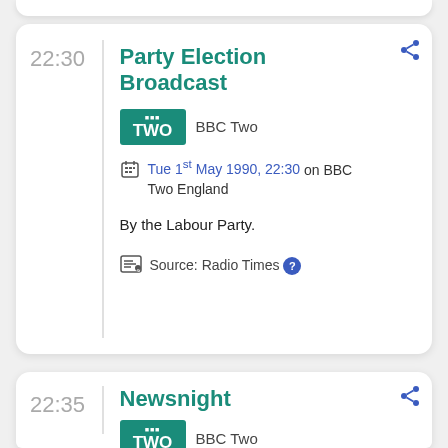22:30
Party Election Broadcast
[Figure (logo): BBC TWO channel logo, teal/green background with white text]
BBC Two
Tue 1st May 1990, 22:30 on BBC Two England
By the Labour Party.
Source: Radio Times
22:35
Newsnight
[Figure (logo): BBC TWO channel logo partial]
BBC Two